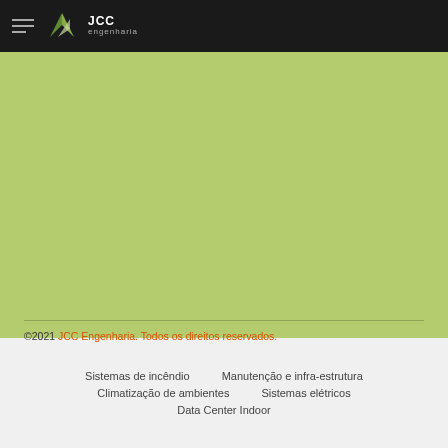JCC Engenharia
[Figure (logo): JCC Engenharia logo with stylized arrow/wing graphic and text 'JCC engenharia' on dark header bar]
©2021 JCC Engenharia. Todos os direitos reservados.
Sistemas de incêndio
Manutenção e infra-estrutura
Climatização de ambientes
Sistemas elétricos
Data Center Indoor